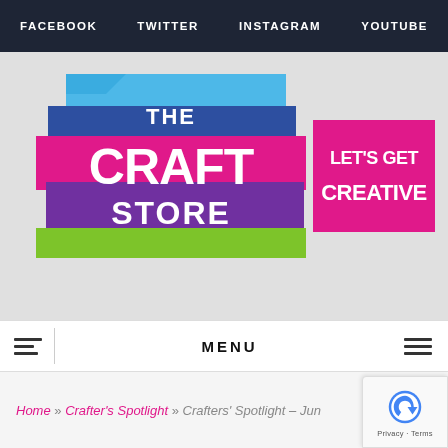FACEBOOK  TWITTER  INSTAGRAM  YOUTUBE
[Figure (logo): The Craft Store logo with coloured stacked rectangles in blue, purple, pink and green with white bold text reading THE CRAFT STORE, alongside a pink rectangle with white bold text reading LET'S GET CREATIVE]
MENU
Home » Crafter's Spotlight » Crafters' Spotlight – Jun